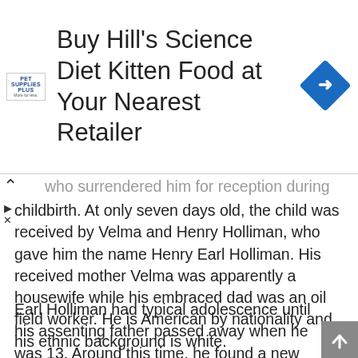[Figure (infographic): Advertisement banner for Pet Supplies Plus promoting Buy Hill's Science Diet Kitten Food at Your Nearest Retailer, with a blue diamond turn-right road sign icon on the right.]
who surrendered him for reception during childbirth. At only seven days old, the child was received by Velma and Henry Holliman, who gave him the name Henry Earl Holliman. His received mother Velma was apparently a housewife while his embraced dad was an oil field worker. He is American by nationality and his ethnic background is white.
Earl Holliman had typical adolescence until his assenting father passed away when he was 13. Around this time, he found a new line of work as an introduce a cinema, through which he had the capacity to spare some cash to move to Hollywood to